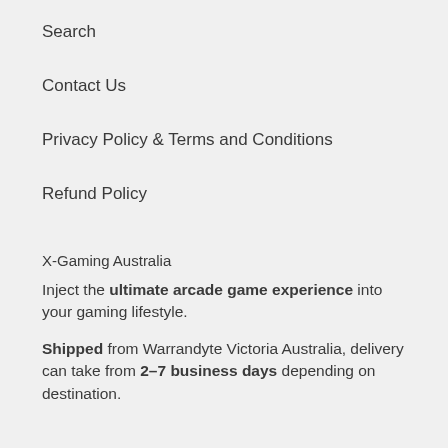Search
Contact Us
Privacy Policy & Terms and Conditions
Refund Policy
X-Gaming Australia
Inject the ultimate arcade game experience into your gaming lifestyle.
Shipped from Warrandyte Victoria Australia, delivery can take from 2-7 business days depending on destination.